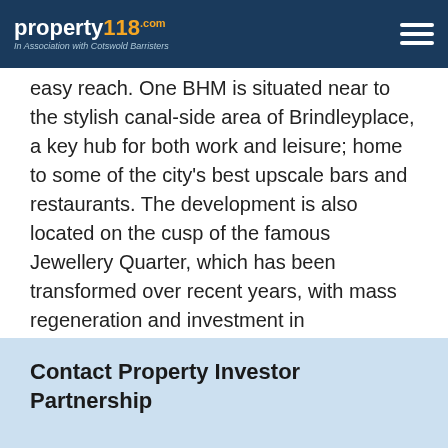property118.com | In Association with Cotswold Barristers
easy reach. One BHM is situated near to the stylish canal-side area of Brindleyplace, a key hub for both work and leisure; home to some of the city's best upscale bars and restaurants.  The development is also located on the cusp of the famous Jewellery Quarter, which has been transformed over recent years, with mass regeneration and investment in infrastructure.
For more information on this Investment Opportunity, please contact us using the form below and we will be happy to help.
Contact Property Investor Partnership